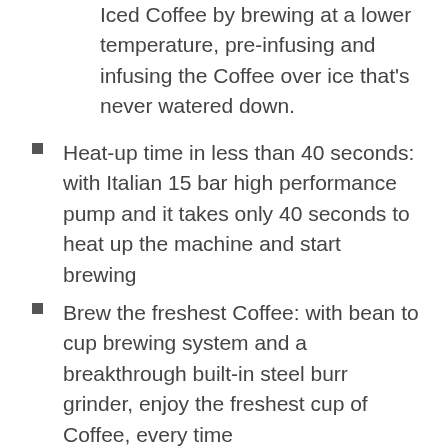Iced Coffee by brewing at a lower temperature, pre-infusing and infusing the Coffee over ice that's never watered down.
Heat-up time in less than 40 seconds: with Italian 15 bar high performance pump and it takes only 40 seconds to heat up the machine and start brewing
Brew the freshest Coffee: with bean to cup brewing system and a breakthrough built-in steel burr grinder, enjoy the freshest cup of Coffee, every time
Integrated adjustable manual frother: allows you to customize steam and foam levels for rich, creamy, long-lasting lattes and cappuccinos – with no Barista experience required. The adjustable steel burr grinder has 13 setting options for a perfect grind of the whole beans
The simplest machine to clean: with a removable